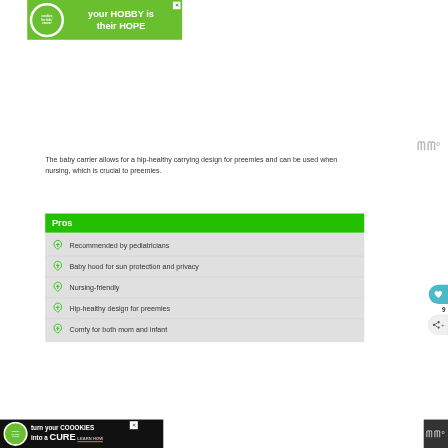[Figure (other): Green advertisement banner for 'Cookies for Kids Cancer' with text 'your HOBBY is their HOPE' and a close button]
The baby carrier allows for a hip-healthy carrying design for preemies and can be used when nursing, which is crucial to preemies.
Pros
Recommended by pediatricians
Baby hood for sun protection and privacy
Nursing-friendly
Hip-healthy design for preemies
Comfy for both mom and infant
[Figure (other): Bottom advertisement banner for 'Cookies for Kids Cancer' with text 'turn your COOKIES into a CURE LEARN HOW' on black background]